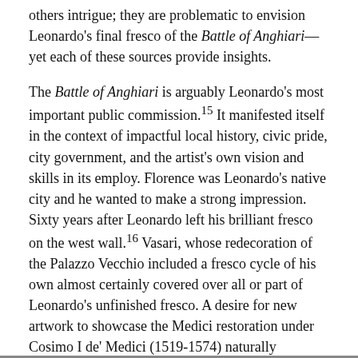others intrigue; they are problematic to envision Leonardo's final fresco of the Battle of Anghiari—yet each of these sources provide insights.
The Battle of Anghiari is arguably Leonardo's most important public commission.15 It manifested itself in the context of impactful local history, civic pride, city government, and the artist's own vision and skills in its employ. Florence was Leonardo's native city and he wanted to make a strong impression. Sixty years after Leonardo left his brilliant fresco on the west wall.16 Vasari, whose redecoration of the Palazzo Vecchio included a fresco cycle of his own almost certainly covered over all or part of Leonardo's unfinished fresco. A desire for new artwork to showcase the Medici restoration under Cosimo I de' Medici (1519-1574) naturally extended to the Grand Council Hall. The late-fifteenth-century Republic had commissioned Leonard's battle fresco—and that form of government had ended in Florence in 1512.